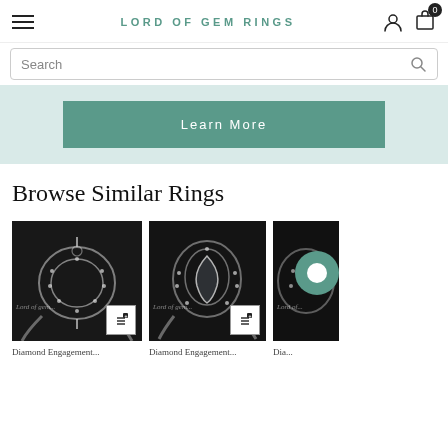LORD OF GEM RINGS
Search
Learn More
Browse Similar Rings
[Figure (photo): Silver diamond ring semi-mount with halo setting, Lord of Gem Rings watermark]
[Figure (photo): Silver pear-shaped halo semi-mount ring, Lord of Gem Rings watermark]
[Figure (photo): Partial view of a silver ring, Lord of Gem Rings watermark, with teal chat bubble overlay]
Diamond Engagement...
Diamond Engagement...
Dia...